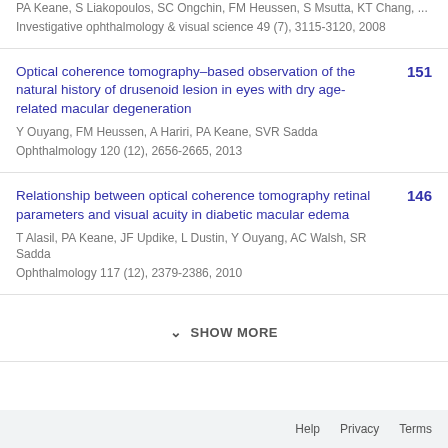PA Keane, S Liakopoulos, SC Ongchin, FM Heussen, S Msutta, KT Chang, ...
Investigative ophthalmology & visual science 49 (7), 3115-3120, 2008
Optical coherence tomography–based observation of the natural history of drusenoid lesion in eyes with dry age-related macular degeneration
Y Ouyang, FM Heussen, A Hariri, PA Keane, SVR Sadda
Ophthalmology 120 (12), 2656-2665, 2013
151
Relationship between optical coherence tomography retinal parameters and visual acuity in diabetic macular edema
T Alasil, PA Keane, JF Updike, L Dustin, Y Ouyang, AC Walsh, SR Sadda
Ophthalmology 117 (12), 2379-2386, 2010
146
SHOW MORE
Help  Privacy  Terms